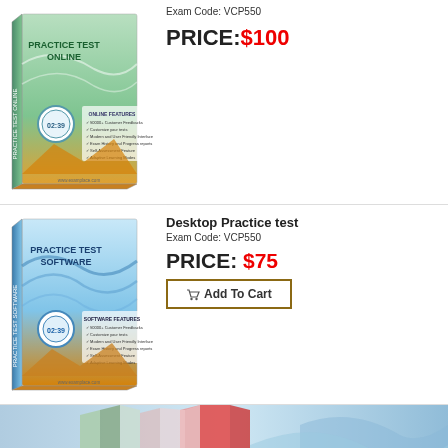[Figure (illustration): Practice Test Online software box with green/teal wave design, mountains at bottom, clock showing 02:39, and feature checklist]
Exam Code: VCP550
PRICE:$100
[Figure (illustration): Practice Test Software box with blue wave design, mountains at bottom, clock showing 02:39, and feature checklist]
Desktop Practice test
Exam Code: VCP550
PRICE: $75
Add To Cart
[Figure (illustration): Multiple product boxes with blue wave background and red spine books, partially visible at bottom of page]